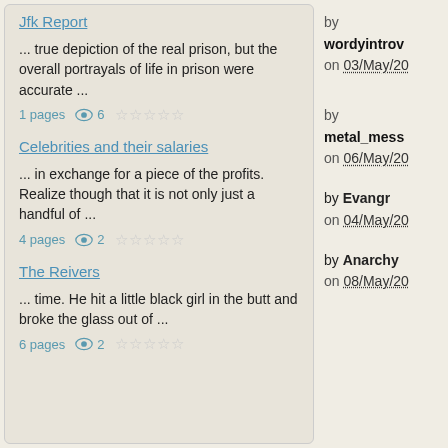Jfk Report
... true depiction of the real prison, but the overall portrayals of life in prison were accurate ...
1 pages   6   ☆☆☆☆☆
Celebrities and their salaries
... in exchange for a piece of the profits. Realize though that it is not only just a handful of ...
4 pages   2   ☆☆☆☆☆
The Reivers
... time. He hit a little black girl in the butt and broke the glass out of ...
6 pages   2   ☆☆☆☆☆
by wordyintrov on 03/May/20
by metal_mess on 06/May/20
by Evangr on 04/May/20
by Anarchy on 08/May/20